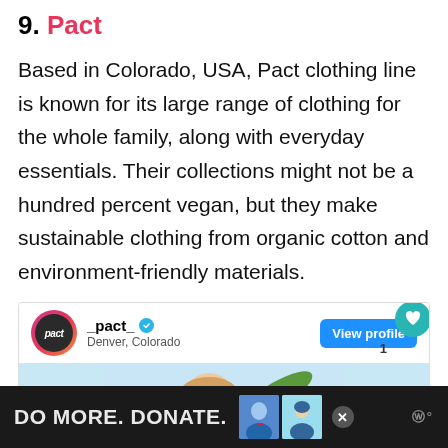9. Pact
Based in Colorado, USA, Pact clothing line is known for its large range of clothing for the whole family, along with everyday essentials. Their collections might not be a hundred percent vegan, but they make sustainable clothing from organic cotton and environment-friendly materials.
[Figure (screenshot): Screenshot of Pact's social media profile card showing the _pact_ username with verified badge, location Denver, Colorado, a View profile button, a heart/save button, share button, and a preview image of a woman in a rust-colored sweater against a light blue background.]
[Figure (infographic): Dark advertisement banner at the bottom reading 'DO MORE. DONATE.' with two small thumbnail images and a close button, followed by a logo on the right.]